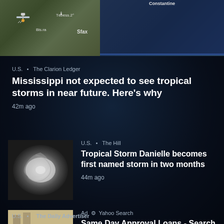[Figure (map): Weather/news app map showing Mediterranean region including Constantine, Tebessa, Sfax, Gulf of Sicily, Valletta. Dark satellite/map view with location labels.]
U.S. · The Clarion Ledger
Mississippi not expected to see tropical storms in near future. Here's why
42m ago
[Figure (photo): Satellite image of a tropical storm system, swirling cloud formation viewed from space]
U.S. · The Hill
Tropical Storm Danielle becomes first named storm in two months
44m ago
[Figure (photo): Photo of a couple, woman smiling being kissed on cheek by a man]
Ad · Yahoo Search
Same Day Approval Loans - Search Now!
U.S. · The Daily Advertiser